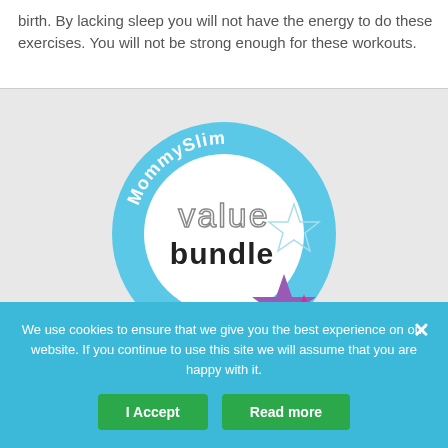birth. By lacking sleep you will not have the energy to do these exercises. You will not be strong enough for these workouts.
[Figure (logo): MommySlim value bundle circular logo badge with blue ring, white center, 'MommySlim' text along top arc, 'value' in outline letters and 'bundle' in bold dark text in center, decorative stars in purple and pink at lower right]
We use cookies to ensure that we give you the best experience on our website. If you continue to use this site we will assume that you are happy with it.